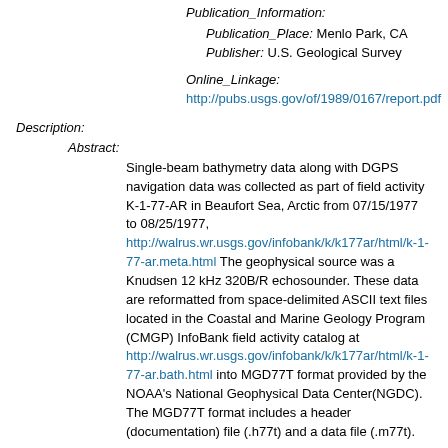Publication_Information:
Publication_Place: Menlo Park, CA
Publisher: U.S. Geological Survey
Online_Linkage:
http://pubs.usgs.gov/of/1989/0167/report.pdf
Description:
Abstract:
Single-beam bathymetry data along with DGPS navigation data was collected as part of field activity K-1-77-AR in Beaufort Sea, Arctic from 07/15/1977 to 08/25/1977, http://walrus.wr.usgs.gov/infobank/k/k177ar/html/k-1-77-ar.meta.html The geophysical source was a Knudsen 12 kHz 320B/R echosounder. These data are reformatted from space-delimited ASCII text files located in the Coastal and Marine Geology Program (CMGP) InfoBank field activity catalog at http://walrus.wr.usgs.gov/infobank/k/k177ar/html/k-1-77-ar.bath.html into MGD77T format provided by the NOAA's National Geophysical Data Center(NGDC). The MGD77T format includes a header (documentation) file (.h77t) and a data file (.m77t).